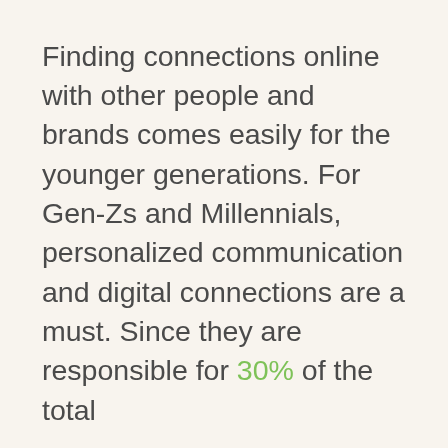Finding connections online with other people and brands comes easily for the younger generations. For Gen-Zs and Millennials, personalized communication and digital connections are a must. Since they are responsible for 30% of the total